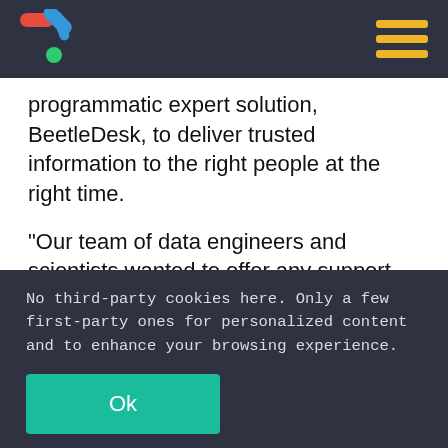BeetleDesk logo and navigation header
programmatic expert solution, BeetleDesk, to deliver trusted information to the right people at the right time.
“Our team of data engineers and scientists wanted to offer any support possible for organisations such as Save The Children. During a time where the public’s health is of upmost importance, it is paramount we use
No third-party cookies here. Only a few first-party ones for personalized content and to enhance your browsing experience.
Ok